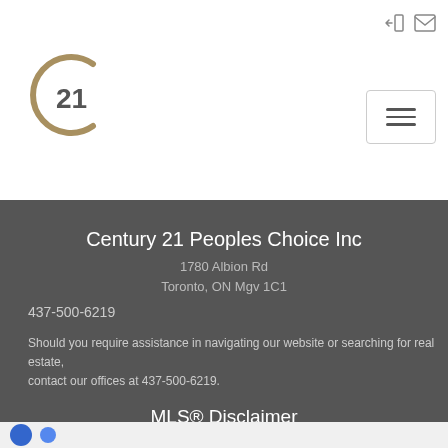[Figure (logo): Century 21 circular logo with '21' text in gold/dark gold color]
Century 21 Peoples Choice Inc
1780 Albion Rd
Toronto, ON Mgv 1C1
437-500-6219
Should you require assistance in navigating our website or searching for real estate, contact our offices at 437-500-6219.
MLS® Disclaimer